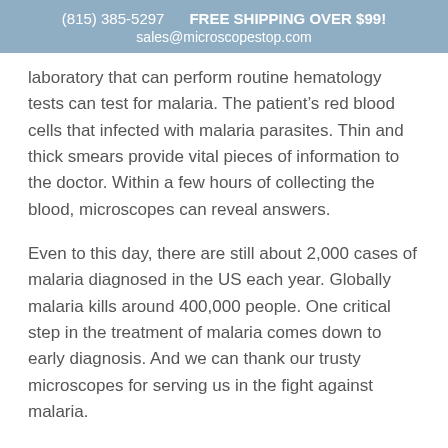(815) 385-5297   FREE SHIPPING OVER $99!
sales@microscopestop.com
laboratory that can perform routine hematology tests can test for malaria. The patient’s red blood cells that infected with malaria parasites. Thin and thick smears provide vital pieces of information to the doctor. Within a few hours of collecting the blood, microscopes can reveal answers.
Even to this day, there are still about 2,000 cases of malaria diagnosed in the US each year. Globally malaria kills around 400,000 people. One critical step in the treatment of malaria comes down to early diagnosis. And we can thank our trusty microscopes for serving us in the fight against malaria.
Along comes America’s favorite drink